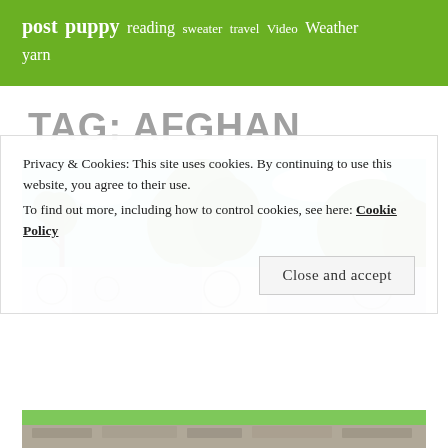post puppy reading sweater travel Video Weather yarn
TAG: AFGHAN
[Figure (photo): Afghan blanket or crochet work draped over a wall or fence outdoors, with trees and blue sky in background]
Privacy & Cookies: This site uses cookies. By continuing to use this website, you agree to their use.
To find out more, including how to control cookies, see here: Cookie Policy
[Figure (photo): Bottom portion of outdoor scene with stone paving]